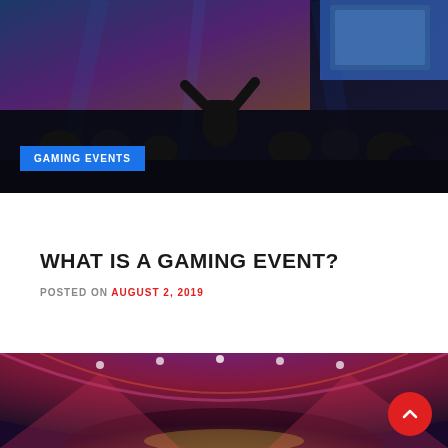[Figure (photo): Dark crowd of people at a gaming event, arms raised, with large screens visible in the background showing blue and pink colors]
GAMING EVENTS
WHAT IS A GAMING EVENT?
POSTED ON AUGUST 2, 2019
[Figure (photo): A dramatic fisheye-lens view of a gaming arena with colorful red, purple, and yellow lighting from the ceiling structure]